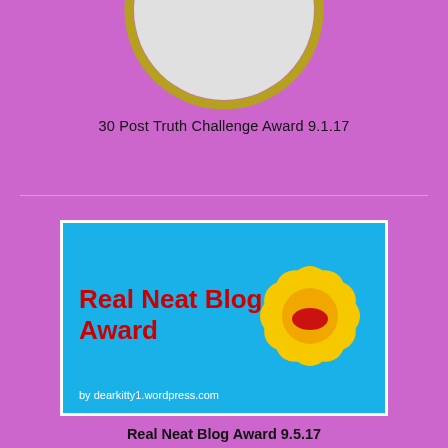[Figure (photo): Partial view of a circular framed photo/award badge with olive green border, showing white/light grey content, cropped at top]
30 Post Truth Challenge Award 9.1.17
[Figure (illustration): Real Neat Blog Award badge: blue rectangle with white border, red text reading 'Real Neat Blog Award', yellow flower with red center, white text 'by dearkitty1.wordpress.com']
Real Neat Blog Award 9.5.17